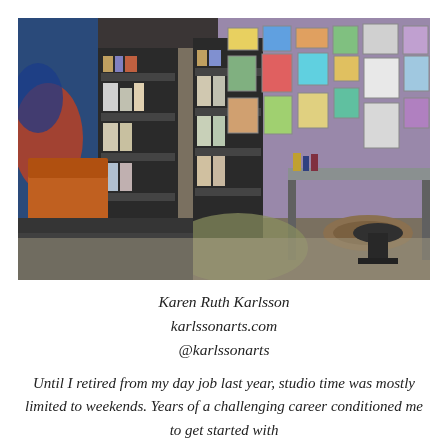[Figure (photo): Interior of an art studio with shelving units holding books and supplies, colorful artwork covering purple walls, a long work table on the right, a dog bed on the floor, a dark desk in the foreground, and various art materials throughout.]
Karen Ruth Karlsson
karlssonarts.com
@karlssonarts
Until I retired from my day job last year, studio time was mostly limited to weekends. Years of a challenging career conditioned me to get started with